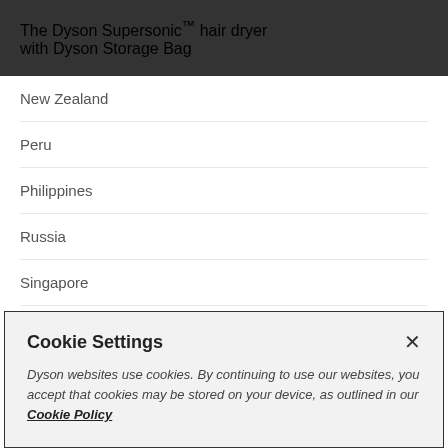The Dyson Supersonic™ hair dryer with Dyson Storage Bag
New Zealand
Peru
Philippines
Russia
Singapore
Cookie Settings
Dyson websites use cookies. By continuing to use our websites, you accept that cookies may be stored on your device, as outlined in our Cookie Policy